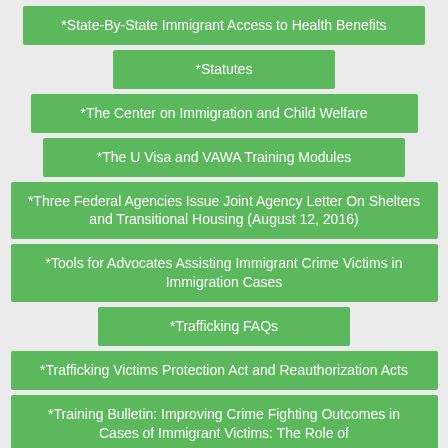*State-By-State Immigrant Access to Health Benefits
*Statutes
*The Center on Immigration and Child Welfare
*The U Visa and VAWA Training Modules
*Three Federal Agencies Issue Joint Agency Letter On Shelters and Transitional Housing (August 12, 2016)
*Tools for Advocates Assisting Immigrant Crime Victims in Immigration Cases
*Trafficking FAQs
*Trafficking Victims Protection Act and Reauthorization Acts
*Training Bulletin: Improving Crime Fighting Outcomes in Cases of Immigrant Victims: The Role of Continued Response and the U Visa Today